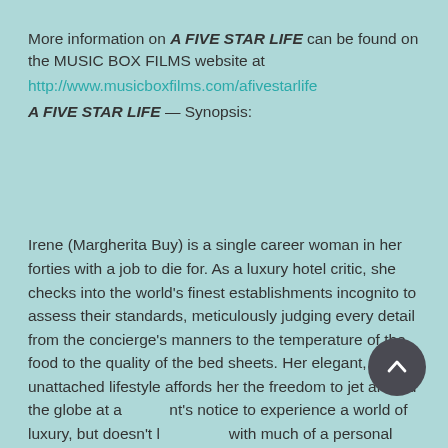More information on A FIVE STAR LIFE can be found on the MUSIC BOX FILMS website at
http://www.musicboxfilms.com/afivestarlife
A FIVE STAR LIFE — Synopsis:
Irene (Margherita Buy) is a single career woman in her forties with a job to die for. As a luxury hotel critic, she checks into the world's finest establishments incognito to assess their standards, meticulously judging every detail from the concierge's manners to the temperature of the food to the quality of the bed sheets. Her elegant, unattached lifestyle affords her the freedom to jet around the globe at a moment's notice to experience a world of luxury, but doesn't leave her with much of a personal life. On the rare occasions she's not working, Irene's world revolves around her absent-minded